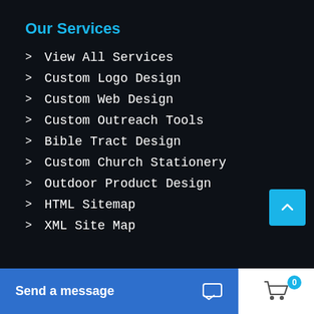Our Services
View All Services
Custom Logo Design
Custom Web Design
Custom Outreach Tools
Bible Tract Design
Custom Church Stationery
Outdoor Product Design
HTML Sitemap
XML Site Map
Send a message
0